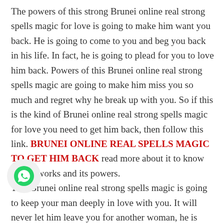The powers of this strong Brunei online real strong spells magic for love is going to make him want you back. He is going to come to you and beg you back in his life. In fact, he is going to plead for you to love him back. Powers of this Brunei online real strong spells magic are going to make him miss you so much and regret why he break up with you. So if this is the kind of Brunei online real strong spells magic for love you need to get him back, then follow this link. BRUNEI ONLINE REAL SPELLS MAGIC TO GET HIM BACK read more about it to know how it works and its powers.
This Brunei online real strong spells magic is going to keep your man deeply in love with you. It will never let him leave you for another woman, he is always going to [WhatsApp icon] you everything as you want it and in time. So if your man is not supporting you and not giving you the